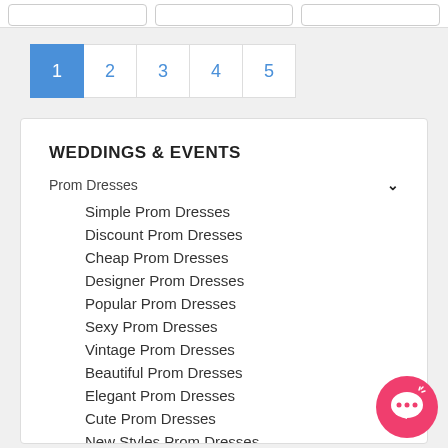[Figure (screenshot): Top bar with three placeholder boxes]
[Figure (screenshot): Pagination bar with pages 1 through 5, page 1 active (blue)]
WEDDINGS & EVENTS
Prom Dresses
Simple Prom Dresses
Discount Prom Dresses
Cheap Prom Dresses
Designer Prom Dresses
Popular Prom Dresses
Sexy Prom Dresses
Vintage Prom Dresses
Beautiful Prom Dresses
Elegant Prom Dresses
Cute Prom Dresses
New Styles Prom Dresses